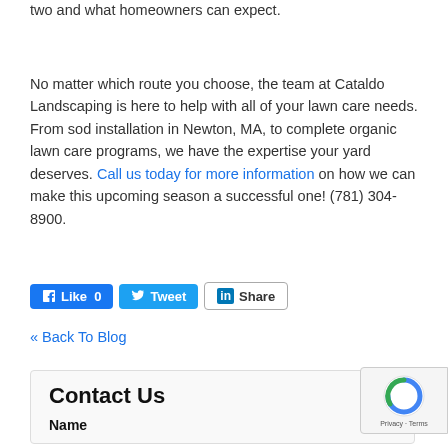two and what homeowners can expect.
No matter which route you choose, the team at Cataldo Landscaping is here to help with all of your lawn care needs. From sod installation in Newton, MA, to complete organic lawn care programs, we have the expertise your yard deserves. Call us today for more information on how we can make this upcoming season a successful one! (781) 304-8900.
[Figure (other): Social share buttons: Facebook Like (0), Twitter Tweet, LinkedIn Share]
« Back To Blog
Contact Us
Name